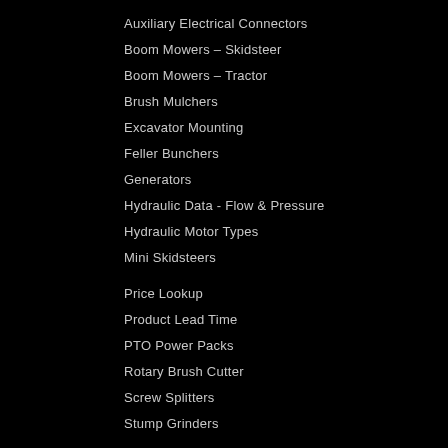Auxiliary Electrical Connectors
Boom Mowers – Skidsteer
Boom Mowers – Tractor
Brush Mulchers
Excavator Mounting
Feller Bunchers
Generators
Hydraulic Data - Flow & Pressure
Hydraulic Motor Types
Mini Skidsteers
Price Lookup
Product Lead Time
PTO Power Packs
Rotary Brush Cutter
Screw Splitters
Stump Grinders